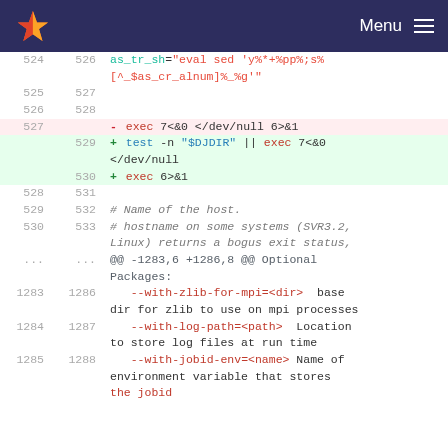GitLab — Menu
524 526   as_tr_sh="eval sed 'y%*+%pp%;s%[^_$as_cr_alnum]%_%g'"
525 527   (empty)
526 528   (empty)
527     - exec 7<&0 </dev/null 6>&1
    529 + test -n "$DJDIR" || exec 7<&0 </dev/null
    530 + exec 6>&1
528 531   (empty)
529 532   # Name of the host.
530 533   # hostname on some systems (SVR3.2, Linux) returns a bogus exit status,
... ...   @@ -1283,6 +1286,8 @@ Optional Packages:
1283 1286   --with-zlib-for-mpi=<dir>  base dir for zlib to use on mpi processes
1284 1287   --with-log-path=<path>  Location to store log files at run time
1285 1288   --with-jobid-env=<name> Name of environment variable that stores the jobid